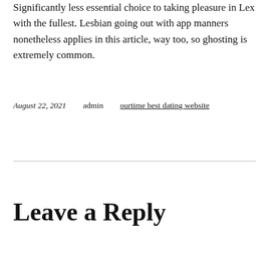Significantly less essential choice to taking pleasure in Lex with the fullest. Lesbian going out with app manners nonetheless applies in this article, way too, so ghosting is extremely common.
August 22, 2021    admin    ourtime best dating website
Leave a Reply